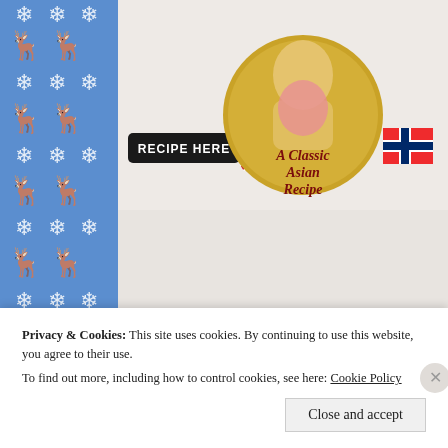[Figure (illustration): Blue Nordic/Christmas pattern sidebar with reindeer and snowflake motifs on blue background]
[Figure (illustration): Black rounded rectangle button labeled RECIPE HERE with UK flag emoji, and a circular gold badge showing A Classic Asian Recipe with a woman in traditional Korean dress]
[Figure (illustration): Rate This section with star rating icons and info button, Share this label, and social media icon circles (email, print, Twitter, Facebook, Pinterest with 4 badge, Reddit, Tumblr, LinkedIn)]
Privacy & Cookies: This site uses cookies. By continuing to use this website, you agree to their use.
To find out more, including how to control cookies, see here: Cookie Policy
Close and accept